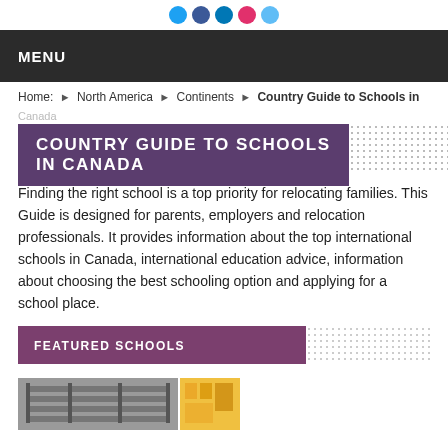Social media icons row
MENU
Home: ▶ North America ▶ Continents ▶ Country Guide to Schools in
Canada
COUNTRY GUIDE TO SCHOOLS IN CANADA
Finding the right school is a top priority for relocating families. This Guide is designed for parents, employers and relocation professionals. It provides information about the top international schools in Canada, international education advice, information about choosing the best schooling option and applying for a school place.
FEATURED SCHOOLS
[Figure (photo): Photo of school interior/classroom]